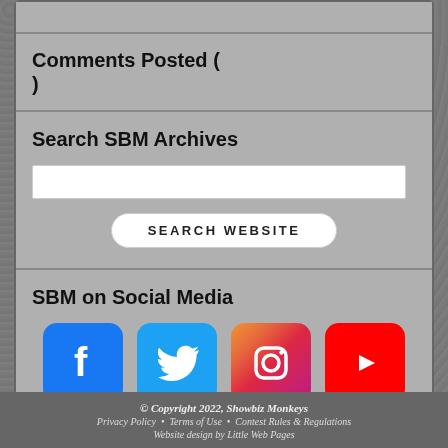Comments Posted ( )
Search SBM Archives
SEARCH WEBSITE
SBM on Social Media
[Figure (logo): Facebook, Twitter, Instagram, YouTube social media icons]
© Copyright 2022, Showbiz Monkeys
Privacy Policy • Terms of Use • Contest Rules & Regulations
Website design by Little Web Pages